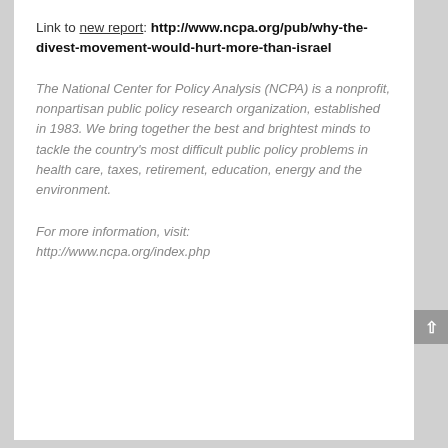Link to new report: http://www.ncpa.org/pub/why-the-divest-movement-would-hurt-more-than-israel
The National Center for Policy Analysis (NCPA) is a nonprofit, nonpartisan public policy research organization, established in 1983. We bring together the best and brightest minds to tackle the country's most difficult public policy problems in health care, taxes, retirement, education, energy and the environment.
For more information, visit: http://www.ncpa.org/index.php